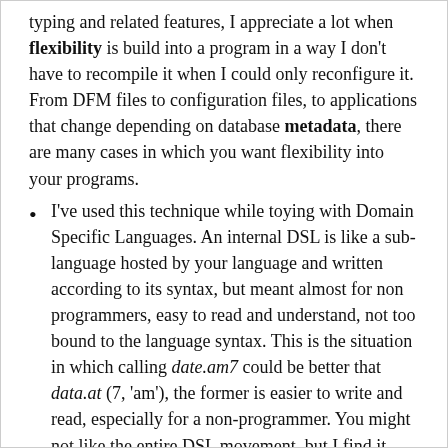typing and related features, I appreciate a lot when flexibility is build into a program in a way I don't have to recompile it when I could only reconfigure it. From DFM files to configuration files, to applications that change depending on database metadata, there are many cases in which you want flexibility into your programs.
I've used this technique while toying with Domain Specific Languages. An internal DSL is like a sub-language hosted by your language and written according to its syntax, but meant almost for non programmers, easy to read and understand, not too bound to the language syntax. This is the situation in which calling date.am7 could be better that data.at (7, 'am'), the former is easier to write and read, especially for a non-programmer. You might not like the entire DSL movement, but I find it quite